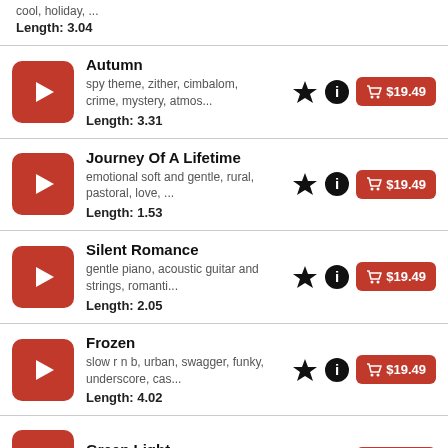cool, holiday, ... Length: 3.04
Autumn — spy theme, zither, cimbalom, crime, mystery, atmos... Length: 3.31 — $19.49
Journey Of A Lifetime — emotional soft and gentle, rural, pastoral, love, ... Length: 1.53 — $19.49
Silent Romance — gentle piano, acoustic guitar and strings, romanti... Length: 2.05 — $19.49
Frozen — slow r n b, urban, swagger, funky, underscore, cas... Length: 4.02 — $19.49
Green Light — peaceful, restful, soft, choirs, piano — $19.49